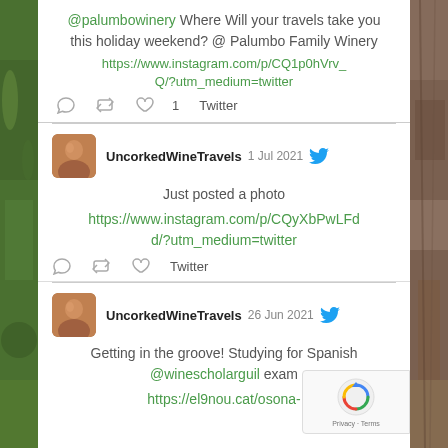@palumbowinery Where Will your travels take you this holiday weekend? @ Palumbo Family Winery https://www.instagram.com/p/CQ1p0hVrv_Q/?utm_medium=twitter
Twitter actions: reply, retweet, like 1, Twitter
[Figure (screenshot): UncorkedWineTravels avatar thumbnail]
UncorkedWineTravels 1 Jul 2021
Just posted a photo https://www.instagram.com/p/CQyXbPwLFdd/?utm_medium=twitter
Twitter actions: reply, retweet, like, Twitter
[Figure (screenshot): UncorkedWineTravels avatar thumbnail]
UncorkedWineTravels 26 Jun 2021
Getting in the groove! Studying for Spanish @winescholarguil exam https://el9nou.cat/osona-